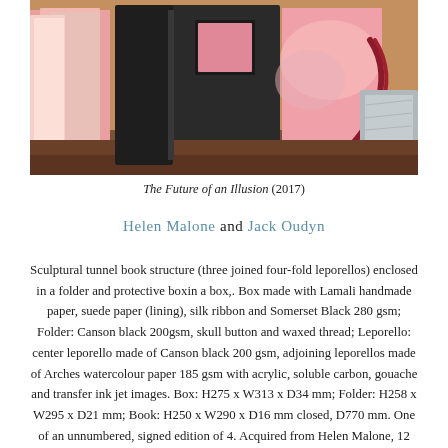[Figure (photo): Photograph of a sculptural tunnel book structure with pink/rose colored leporello pages and dark covers, enclosed in a box with a silk ribbon, displayed open on a wooden surface.]
The Future of an Illusion (2017)
Helen Malone and Jack Oudyn
Sculptural tunnel book structure (three joined four-fold leporellos) enclosed in a folder and protective boxin a box,. Box made with Lamali handmade paper, suede paper (lining), silk ribbon and Somerset Black 280 gsm; Folder: Canson black 200gsm, skull button and waxed thread; Leporello: center leporello made of Canson black 200 gsm, adjoining leporellos made of Arches watercolour paper 185 gsm with acrylic, soluble carbon, gouache and transfer ink jet images. Box: H275 x W313 x D34 mm; Folder: H258 x W295 x D21 mm; Book: H250 x W290 x D16 mm closed, D770 mm. One of an unnumbered, signed edition of 4. Acquired from Helen Malone, 12 September 2017. Photo: Books On Books Collection.